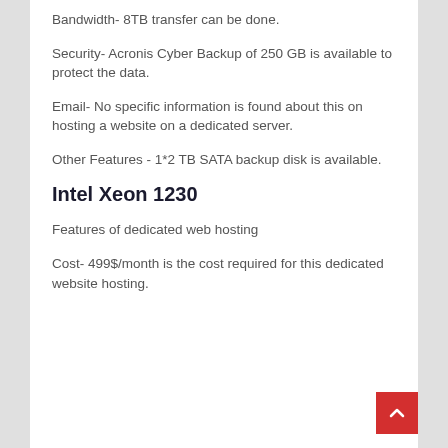Bandwidth- 8TB transfer can be done.
Security- Acronis Cyber Backup of 250 GB is available to protect the data.
Email- No specific information is found about this on hosting a website on a dedicated server.
Other Features - 1*2 TB SATA backup disk is available.
Intel Xeon 1230
Features of dedicated web hosting
Cost- 499$/month is the cost required for this dedicated website hosting.